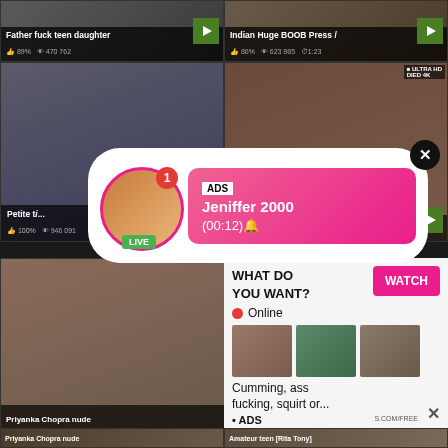[Figure (screenshot): Video thumbnail: Father fuck teen daughter, 89% likes, 470 762 views]
[Figure (screenshot): Video thumbnail: Indian Huge BOOB Press /, 86% likes, 623 985 views, 1:23 duration]
[Figure (screenshot): Video thumbnail: Petite t[een], 100% likes, 946 091 views]
[Figure (screenshot): Video thumbnail: right mid, 88% likes, 829 043 views]
[Figure (infographic): Popup ad overlay: ADS, Jeniffer 2000, (00:12), LIVE badge, close X button]
[Figure (screenshot): Large bottom-left video thumbnail, Priyanka Chopra nude]
[Figure (infographic): Ad panel: WHAT DO YOU WANT? WATCH button, Online indicator, thumbnail images, Cumming, ass fucking, squirt or..., ADS, close X, S.COM/FREE]